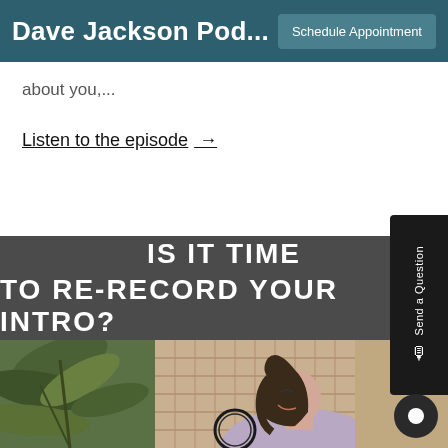Dave Jackson Pod...  Schedule Appointment
about you,...
Listen to the episode →
[Figure (photo): Podcast episode thumbnail: dark overlay with text 'IS IT TIME TO RE-RECORD YOUR INTRO?' over a photo of a woman speaking into a microphone in a studio setting with plants in the background]
Send a Question